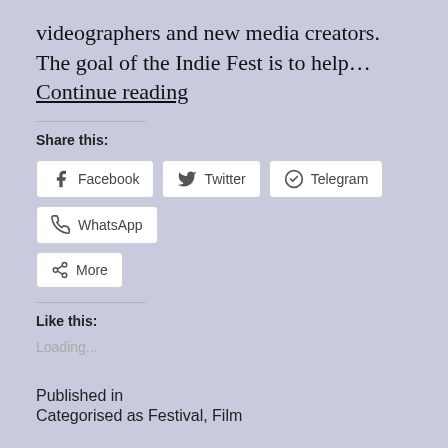videographers and new media creators. The goal of the Indie Fest is to help… Continue reading
Share this:
Facebook  Twitter  Telegram  WhatsApp  More
Like this:
Loading...
Published in
Categorised as Festival, Film